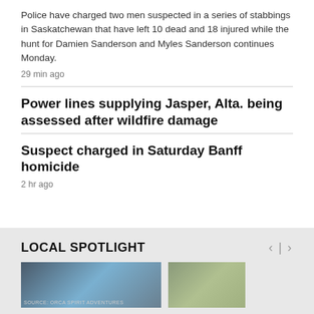Police have charged two men suspected in a series of stabbings in Saskatchewan that have left 10 dead and 18 injured while the hunt for Damien Sanderson and Myles Sanderson continues Monday.
29 min ago
Power lines supplying Jasper, Alta. being assessed after wildfire damage
Suspect charged in Saturday Banff homicide
2 hr ago
LOCAL SPOTLIGHT
[Figure (photo): Two thumbnail images for Local Spotlight section: left image shows a building with sky and source credit overlay, right image shows an aerial/overhead view]